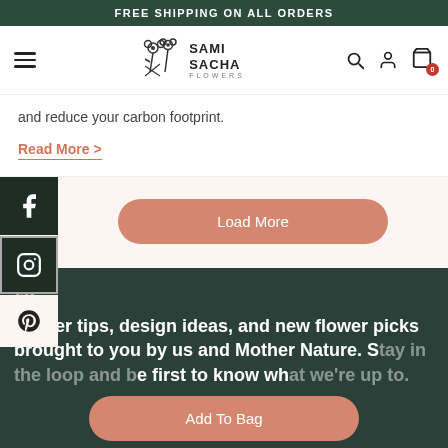FREE SHIPPING ON ALL ORDERS
[Figure (logo): Sami Sacha Flowers logo with flower illustration and hamburger menu, search, account, and cart icons in navigation bar]
and reduce your carbon footprint.
Read More >
Load More
[Figure (illustration): Social media icons: Facebook, Instagram, Pinterest on left sidebar]
Flower tips, design ideas, and new flower picks brought to you by us and Mother Nature. S[tay in the loop and b]e first to know wh[at we're up to].
Add To Bag